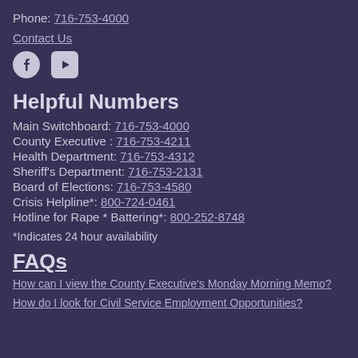Phone: 716-753-4000
Contact Us
[Figure (illustration): Facebook and YouTube social media icons]
Helpful Numbers
Main Switchboard: 716-753-4000
County Executive : 716-753-4211
Health Department: 716-753-4312
Sheriff's Department: 716-753-2131
Board of Elections: 716-753-4580
Crisis Helpline*: 800-724-0461
Hotline for Rape * Battering*: 800-252-8748
*Indicates 24 hour availability
FAQs
How can I view the County Executive's Monday Morning Memo?
How do I look for Civil Service Employment Opportunities?